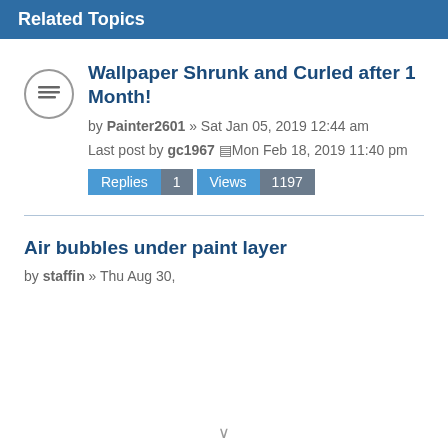Related Topics
Wallpaper Shrunk and Curled after 1 Month!
by Painter2601 » Sat Jan 05, 2019 12:44 am
Last post by gc1967 Mon Feb 18, 2019 11:40 pm
Replies 1 Views 1197
Air bubbles under paint layer
by staffin » Thu Aug 30,